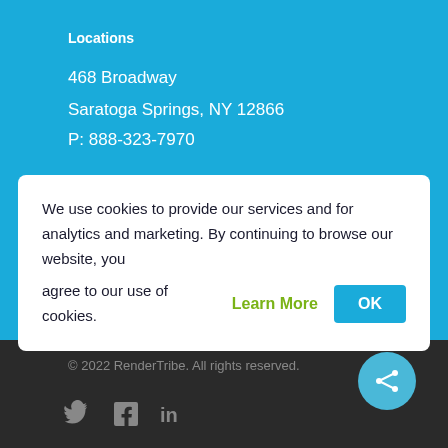Locations
468 Broadway
Saratoga Springs, NY 12866
P: 888-323-7970
We use cookies to provide our services and for analytics and marketing. By continuing to browse our website, you agree to our use of cookies. Learn More OK
© 2022 RenderTribe. All rights reserved.